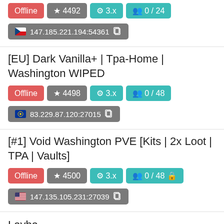Offline | ★ 4492 | ⚙ 3.x | 0 / 24 | 147.185.221.194:54361
[EU] Dark Vanilla+ | Tpa-Home | Washington WIPED | Offline | ★ 4498 | ⚙ 3.x | 0 / 48 | 83.229.87.120:27015
[#1] Void Washington PVE [Kits | 2x Loot | TPA | Vaults] | Offline | ★ 4500 | ⚙ 3.x | 0 / 48 🔒 | 147.135.105.231:27039
Layba